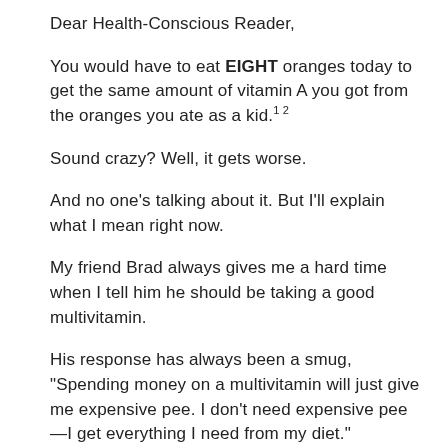Dear Health-Conscious Reader,
You would have to eat EIGHT oranges today to get the same amount of vitamin A you got from the oranges you ate as a kid.¹²
Sound crazy? Well, it gets worse.
And no one's talking about it. But I'll explain what I mean right now.
My friend Brad always gives me a hard time when I tell him he should be taking a good multivitamin.
His response has always been a smug, "Spending money on a multivitamin will just give me expensive pee. I don't need expensive pee—I get everything I need from my diet."